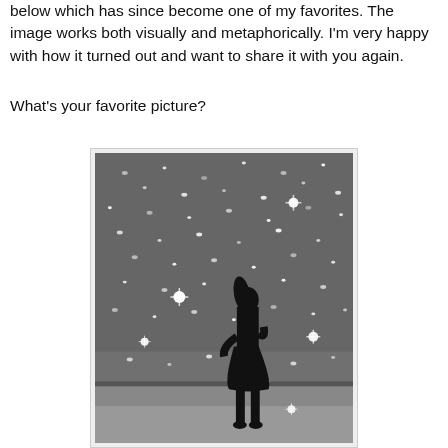below which has since become one of my favorites. The image works both visually and metaphorically. I'm very happy with how it turned out and want to share it with you again.
What's your favorite picture?
[Figure (photo): Black and white photograph of a woman silhouette standing at the edge of water/beach, with sunlight sparkling on the water surface behind her.]